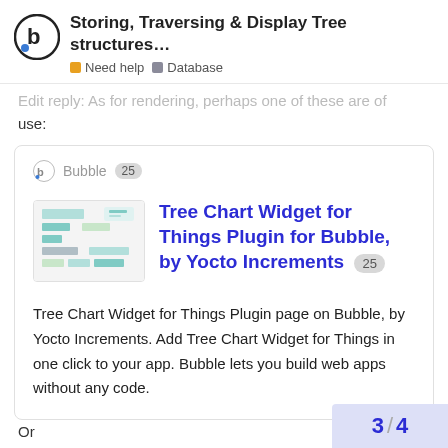Storing, Traversing & Display Tree structures...
Edit reply: As for rendering, perhaps one of these are of use:
[Figure (screenshot): Embedded card showing Bubble plugin listing: Tree Chart Widget for Things Plugin for Bubble, by Yocto Increments. Badge showing 25. Description: Tree Chart Widget for Things Plugin page on Bubble, by Yocto Increments. Add Tree Chart Widget for Things in one click to your app. Bubble lets you build web apps without any code.]
Or